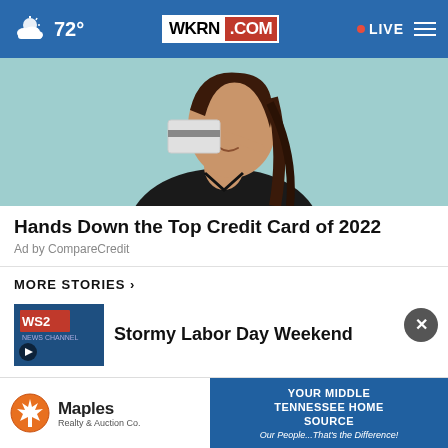72° WKRN.COM • LIVE
[Figure (photo): Woman in black top holding and pointing to a credit card against a teal background]
Hands Down the Top Credit Card of 2022
Ad by CompareCredit
MORE STORIES ›
[Figure (screenshot): WS2 news thumbnail with play button]
Stormy Labor Day Weekend
[Figure (logo): Maples Realty & Auction Co. advertisement banner with text: YOUR MIDDLE TENNESSEE HOME SOURCE Our People...That's the Difference!]